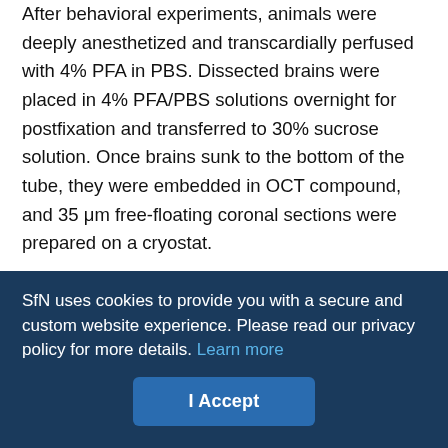After behavioral experiments, animals were deeply anesthetized and transcardially perfused with 4% PFA in PBS. Dissected brains were placed in 4% PFA/PBS solutions overnight for postfixation and transferred to 30% sucrose solution. Once brains sunk to the bottom of the tube, they were embedded in OCT compound, and 35 μm free-floating coronal sections were prepared on a cryostat.
For immunohistochemistry, free-floating sections were blocked with 5% normal goat serum and 0.25% Triton X-100 in PBS. Sections were incubated with an anti-GFP antibody (1:1000, chicken polyclonal, ab13970, Abcam) overnight at room temperature. The next day, sections were rinsed with PBS three times for 5 min and incubated with a secondary antibody conjugated with AlexaFluor-488 dye (1:500, goat anti-chicken IgG, A-11039, Invitrogen) for 90 min.
SfN uses cookies to provide you with a secure and custom website experience. Please read our privacy policy for more details. Learn more